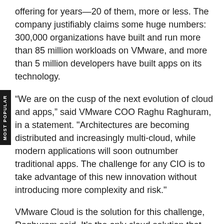offering for years—20 of them, more or less. The company justifiably claims some huge numbers: 300,000 organizations have built and run more than 85 million workloads on VMware, and more than 5 million developers have built apps on its technology.
“We are on the cusp of the next evolution of cloud and apps,” said VMware COO Raghu Raghuram, in a statement. "Architectures are becoming distributed and increasingly multi-cloud, while modern applications will soon outnumber traditional apps. The challenge for any CIO is to take advantage of this new innovation without introducing more complexity and risk."
VMware Cloud is the solution for this challenge, Raghuram said. It's the only cloud solution that customers can use today in the datacenter and on any cloud to "accelerate their modernization journey with speed, simplicity, and better security."